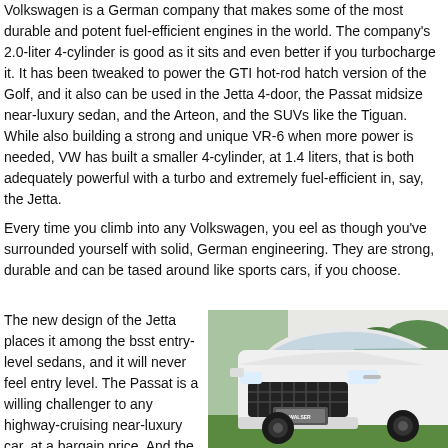Volkswagen is a German company that makes some of the most durable and potent fuel-efficient engines in the world. The company's 2.0-liter 4-cylinder is good as it sits and even better if you turbocharge it. It has been tweaked to power the GTI hot-rod hatch version of the Golf, and it also can be used in the Jetta 4-door, the Passat midsize near-luxury sedan, and the Arteon, and the SUVs like the Tiguan.
While also building a strong and unique VR-6 when more power is needed, VW has built a smaller 4-cylinder, at 1.4 liters, that is both adequately powerful with a turbo and extremely fuel-efficient in, say, the Jetta.
Every time you climb into any Volkswagen, you eel as though you've surrounded yourself with solid, German engineering. They are strong, durable and can be tased around like sports cars, if you choose.
The new design of the Jetta places it among the bsst entry-level sedans, and it will never feel entry level. The Passat is a willing challenger to any highway-cruising near-luxury car, at a bargain price. And the people's-car company also owns Audi, which is more of a luxury car-maker, and also advances the corporate
[Figure (photo): A white SUV (appears to be a Hyundai Tucson) with a WALSER dealership license plate frame, photographed at an outdoor event with a tent and person visible in the background.]